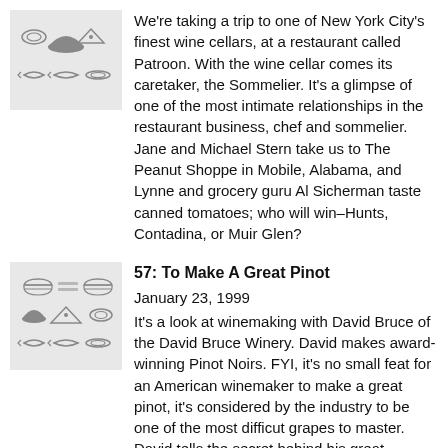[Figure (illustration): Thumbnail image with food/restaurant icons on grey background - plates, fish, burger icons arranged in grid]
We're taking a trip to one of New York City's finest wine cellars, at a restaurant called Patroon. With the wine cellar comes its caretaker, the Sommelier. It's a glimpse of one of the most intimate relationships in the restaurant business, chef and sommelier. Jane and Michael Stern take us to The Peanut Shoppe in Mobile, Alabama, and Lynne and grocery guru Al Sicherman taste canned tomatoes; who will win–Hunts, Contadina, or Muir Glen?
[Figure (illustration): Thumbnail image with food/restaurant icons on grey background - plates, fish, burger, dome icons arranged in grid]
57: To Make A Great Pinot
January 23, 1999
It's a look at winemaking with David Bruce of the David Bruce Winery. David makes award-winning Pinot Noirs. FYI, it's no small feat for an American winemaker to make a great pinot, it's considered by the industry to be one of the most difficut grapes to master. David tells the secret behind his great bottles–a rather ancient technique! Jane and Michael Stern take us to Vermont, again! This time off